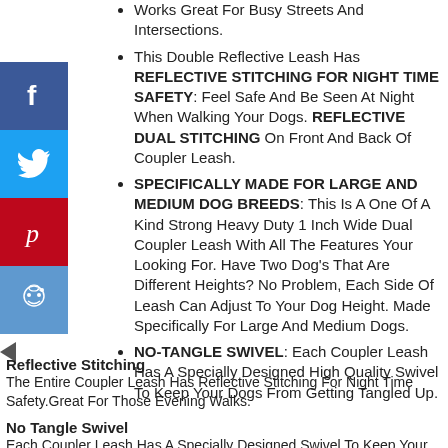Works Great For Busy Streets And Intersections.
This Double Reflective Leash Has REFLECTIVE STITCHING FOR NIGHT TIME SAFETY: Feel Safe And Be Seen At Night When Walking Your Dogs. REFLECTIVE DUAL STITCHING On Front And Back Of Coupler Leash.
SPECIFICALLY MADE FOR LARGE AND MEDIUM DOG BREEDS: This Is A One Of A Kind Strong Heavy Duty 1 Inch Wide Dual Coupler Leash With All The Features Your Looking For. Have Two Dog's That Are Different Heights? No Problem, Each Side Of Leash Can Adjust To Your Dog Height. Made Specifically For Large And Medium Dogs.
NO-TANGLE SWIVEL: Each Coupler Leash Has A Specially Designed High Quality Swivel To Keep Your Dogs From Getting Tangled Up.
Reflective Stitching
The Entire Coupler Leash Has Reflective Stitching For Night Time Safety.Great For Those Evening Walks.
No Tangle Swivel
Each Coupler Leash Has A Specially Designed Swivel To Keep Your Dogs From Getting Tangled Up. If Your Dogs Are Constantly Crossing Paths This No Tangle Swivel Is A Great Feature To Have.
Usability
X-Large Dogs / Large And Medium Dogs